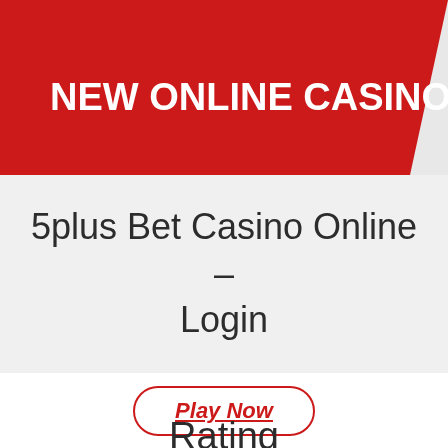NEW ONLINE CASINOS 2021
5plus Bet Casino Online – Login
Play Now
Rating